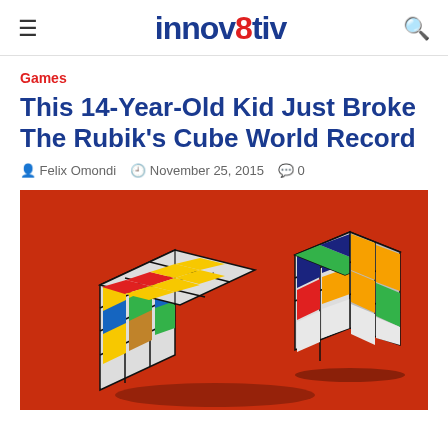innov8tiv
Games
This 14-Year-Old Kid Just Broke The Rubik's Cube World Record
Felix Omondi  November 25, 2015  0
[Figure (photo): A Rubik's cube with colorful squares (yellow, red, blue, green, orange, white) photographed against a red background, partially scrambled and separated into two pieces.]